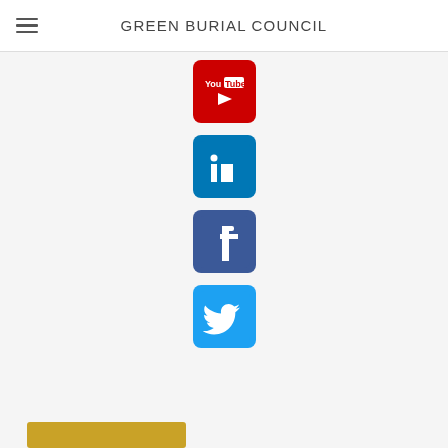GREEN BURIAL COUNCIL
[Figure (logo): YouTube social media icon - red rounded square with white YouTube play button logo]
[Figure (logo): LinkedIn social media icon - blue rounded square with white 'in' logo]
[Figure (logo): Facebook social media icon - blue rounded square with white 'f' logo]
[Figure (logo): Twitter social media icon - light blue rounded square with white bird logo]
[Figure (other): Partially visible gold/yellow button at bottom left of page]